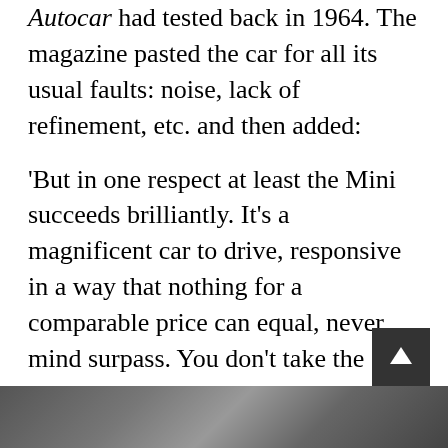Autocar had tested back in 1964. The magazine pasted the car for all its usual faults: noise, lack of refinement, etc. and then added:
'But in one respect at least the Mini succeeds brilliantly. It's a magnificent car to drive, responsive in a way that nothing for a comparable price can equal, never mind surpass. You don't take the Cooper S to work, you drive it, and if you've forgotten the fun that can be had from driving then you need a car like this to remind you.'
[Figure (photo): Partial view of a car photograph at the bottom of the page]